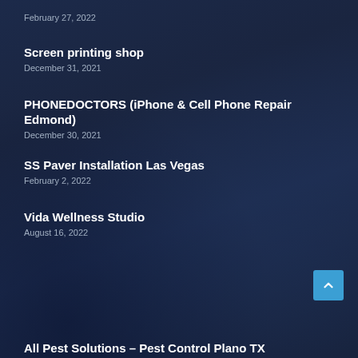February 27, 2022
Screen printing shop
December 31, 2021
PHONEDOCTORS (iPhone & Cell Phone Repair Edmond)
December 30, 2021
SS Paver Installation Las Vegas
February 2, 2022
Vida Wellness Studio
August 16, 2022
All Pest Solutions – Pest Control Plano TX